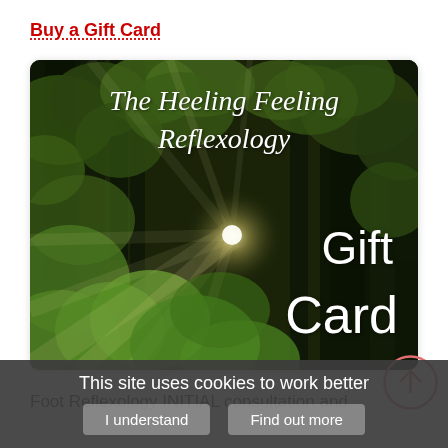Buy a Gift Card
[Figure (illustration): Gift card image showing sunlight streaming through forest trees with text 'The Heeling Feeling Reflexology' at top and 'Gift Card' on the right side in white text.]
Foot Reflexology INITIAL consultation and
This site uses cookies to work better
I understand
Find out more